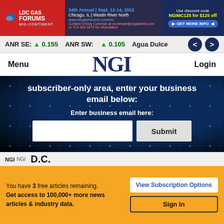[Figure (screenshot): LDC Gas Forums Mid-Continent advertisement banner: 34th Annual, Sept. 12-14 2022, Chicago IL, Westin River North, www.ldcgasforums.com/mc. Use discount code NGIMC125 for $125 off. GET MORE INFO button.]
ANR SE: ▲ 0.155   ANR SW: ▲ 0.105   Agua Dulce
Menu   NGI   Login
subscriber-only area, enter your business email below:
Enter business email here:
Submit
NGI
D.C.
You have 3 free articles remaining. Get access to 100,000+ more news articles & industry data.
View Subscription Options
Sign In